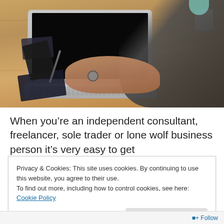[Figure (photo): Overhead view of a person typing on a laptop computer at a wooden desk. A smartphone, notebook, and pen are also visible on the table. The person is wearing a dark grey sweater and a watch. A white mug is visible in the upper right corner.]
When you’re an independent consultant, freelancer, sole trader or lone wolf business person it’s very easy to get
Privacy & Cookies: This site uses cookies. By continuing to use this website, you agree to their use.
To find out more, including how to control cookies, see here: Cookie Policy
Close and accept